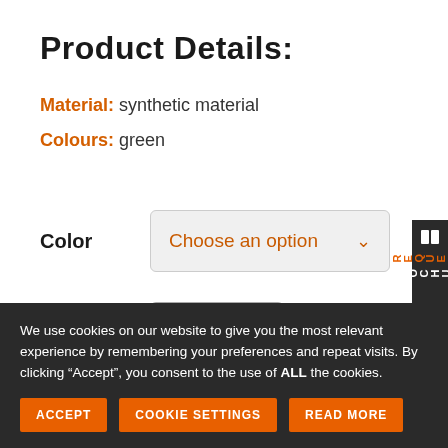Product Details:
Material: synthetic material
Colours: green
Color — Choose an option (dropdown)
Quantity — 25
We use cookies on our website to give you the most relevant experience by remembering your preferences and repeat visits. By clicking “Accept”, you consent to the use of ALL the cookies.
ACCEPT | COOKIE SETTINGS | READ MORE